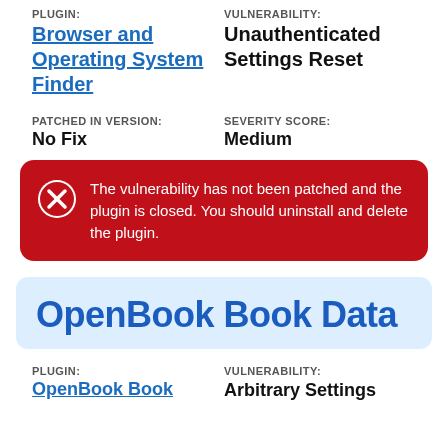PLUGIN:
Browser and Operating System Finder
VULNERABILITY:
Unauthenticated Settings Reset
PATCHED IN VERSION:
No Fix
SEVERITY SCORE:
Medium
The vulnerability has not been patched and the plugin is closed. You should uninstall and delete the plugin.
OpenBook Book Data
PLUGIN:
OpenBook Book
VULNERABILITY:
Arbitrary Settings